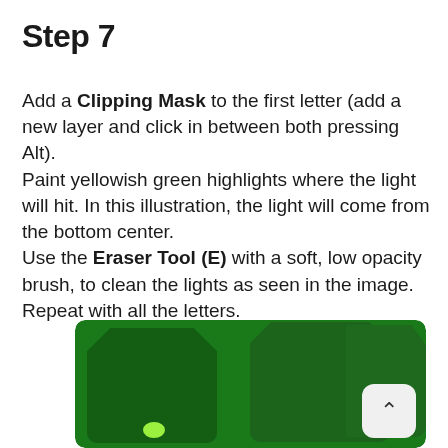Step 7
Add a Clipping Mask to the first letter (add a new layer and click in between both pressing Alt).
Paint yellowish green highlights where the light will hit. In this illustration, the light will come from the bottom center.
Use the Eraser Tool (E) with a soft, low opacity brush, to clean the lights as seen in the image. Repeat with all the letters.
[Figure (illustration): Green digital illustration showing letter shapes rendered in dark green tones against a medium green background, with a small yellowish-green highlight dot at the bottom of the first letter shape. A scroll-up button with a caret symbol is overlaid in the bottom-right corner.]